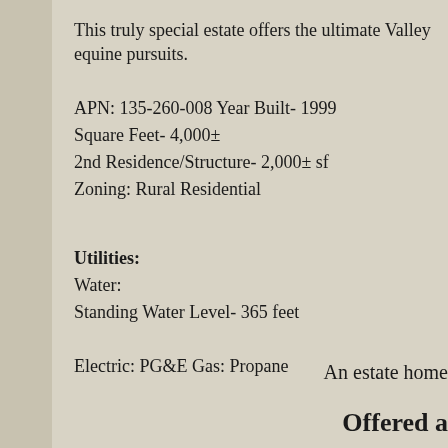This truly special estate offers the ultimate Valley equine pursuits.
APN: 135-260-008 Year Built- 1999
Square Feet- 4,000±
2nd Residence/Structure- 2,000± sf
Zoning: Rural Residential
Utilities:
Water:
Standing Water Level- 365 feet

Electric: PG&E Gas: Propane
An estate home
Offered a